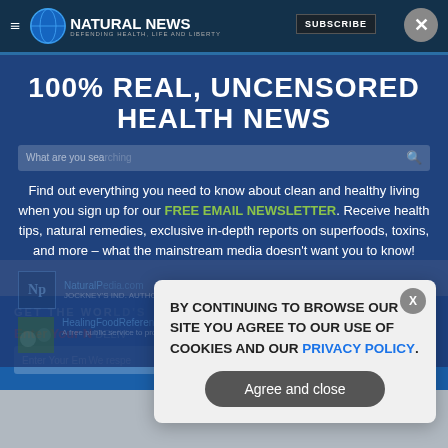[Figure (screenshot): Natural News website screenshot with newsletter signup overlay and cookie consent popup]
100% REAL, UNCENSORED HEALTH NEWS
Find out everything you need to know about clean and healthy living when you sign up for our FREE EMAIL NEWSLETTER. Receive health tips, natural remedies, exclusive in-depth reports on superfoods, toxins, and more – what the mainstream media doesn't want you to know!
BY CONTINUING TO BROWSE OUR SITE YOU AGREE TO OUR USE OF COOKIES AND OUR PRIVACY POLICY.
Agree and close